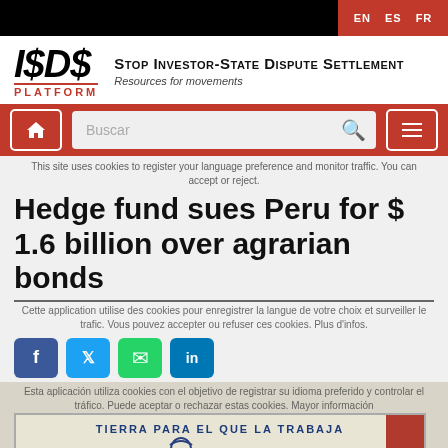EN  ES  FR
[Figure (logo): ISDS Platform logo with stylized '$' symbol and site name 'Stop Investor-State Dispute Settlement - Resources for movements']
[Figure (screenshot): Navigation bar with home button, Buscar (search) field, and hamburger menu on red background]
This site uses cookies to register your language preference and monitor traffic. You can accept or reject.
Hedge fund sues Peru for $ 1.6 billion over agrarian bonds
[Figure (infographic): Social sharing buttons: Facebook, Twitter, WhatsApp, LinkedIn]
Cette application utilise des cookies pour enregistrer la langue de votre choix et surveiller le trafic. Vous pouvez accepter ou refuser ces cookies. Plus d'infos.
Esta aplicación utiliza cookies con el objetivo de registrar su idioma preferido y controlar el tráfico. Puede aceptar o rechazar estas cookies. Mayor información
[Figure (illustration): Peruvian agrarian reform stamp showing a farmer figure with text 'TIERRA PARA EL QUE LA TRABAJA' and red side bar with 'ERU' text (Peru stamp)]